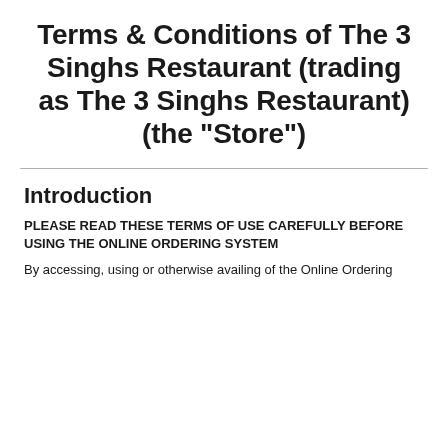Terms & Conditions of The 3 Singhs Restaurant (trading as The 3 Singhs Restaurant) (the "Store")
Introduction
PLEASE READ THESE TERMS OF USE CAREFULLY BEFORE USING THE ONLINE ORDERING SYSTEM
By accessing, using or otherwise availing of the Online Ordering